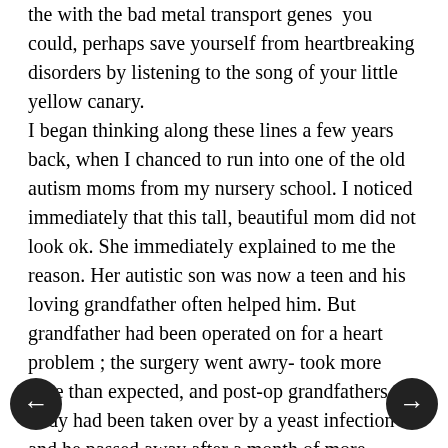the with the bad metal transport genes  you could, perhaps save yourself from heartbreaking disorders by listening to the song of your little yellow canary. I began thinking along these lines a few years back, when I chanced to run into one of the old autism moms from my nursery school. I noticed immediately that this tall, beautiful mom did not look ok. She immediately explained to me the reason. Her autistic son was now a teen and his loving grandfather often helped him. But grandfather had been operated on for a heart problem ; the surgery went awry- took more time than expected, and post-op grandfathers body had been taken over by a yeast infection and he passed away after a month of more surgeries and suffering. The mom was especially devastated